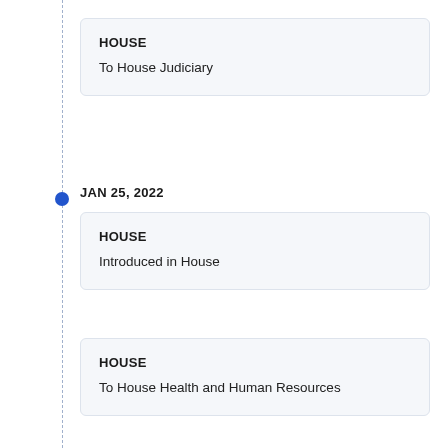HOUSE
To House Judiciary
JAN 25, 2022
HOUSE
Introduced in House
HOUSE
To House Health and Human Resources